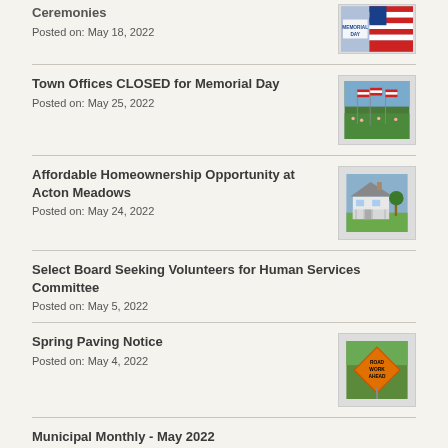Ceremonies
Posted on: May 18, 2022
[Figure (photo): Memorial Day graphic with American flag and text]
Town Offices CLOSED for Memorial Day
Posted on: May 25, 2022
[Figure (photo): American flags in a green field]
Affordable Homeownership Opportunity at Acton Meadows
Posted on: May 24, 2022
[Figure (photo): White house with porch and green lawn]
Select Board Seeking Volunteers for Human Services Committee
Posted on: May 5, 2022
Spring Paving Notice
Posted on: May 4, 2022
[Figure (photo): Orange road work ahead sign]
Municipal Monthly - May 2022
Posted on: May 1, 2022